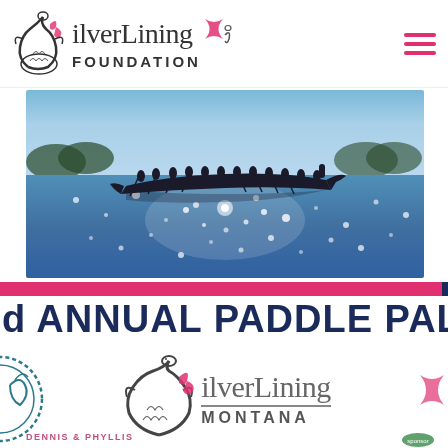[Figure (logo): Silver Lining Foundation logo with dragon and pink ribbon, plus hamburger menu icon]
[Figure (photo): Silhouette of a dragon boat with paddlers on a sparkling sunlit water body, trees visible on horizon]
[Figure (illustration): Pink and navy horizontal stripe bar]
d ANNUAL PADDLE PALOOZ
[Figure (logo): Silver Lining Montana logo with dragon graphic and pink ribbon, partially visible circle stamp on left and pink ribbon on right]
DENNIS & PHYLLIS